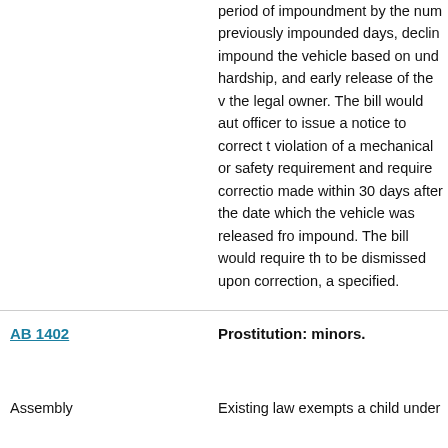period of impoundment by the number of previously impounded days, declining to impound the vehicle based on undue hardship, and early release of the vehicle to the legal owner. The bill would authorize an officer to issue a notice to correct the violation of a mechanical or safety equipment requirement and require correction to be made within 30 days after the date on which the vehicle was released from impound. The bill would require the notice to be dismissed upon correction, as specified.
AB 1402
Prostitution: minors.
Assembly
Existing law exempts a child under